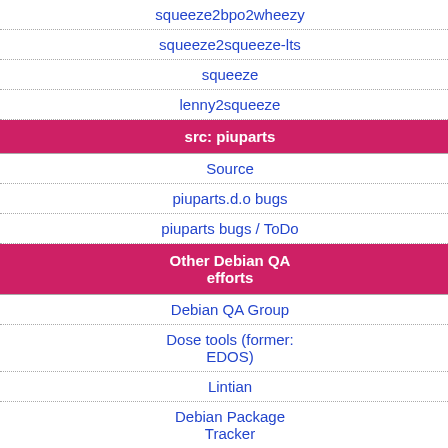squeeze2bpo2wheezy
squeeze2squeeze-lts
squeeze
lenny2squeeze
src: piuparts
Source
piuparts.d.o bugs
piuparts bugs / ToDo
Other Debian QA efforts
Debian QA Group
Dose tools (former: EDOS)
Lintian
Debian Package Tracker
Ultimate Debian Database
jenkins.debian.net
ltt-cont
| Field | Value | Extra |
| --- | --- | --- |
| Source: | ltt-control |  |
| Maintainer: | Jon Bernard <jbe... |  |
| Uploaders: | Michael Jeanson ... |  |
| Binary: | liblttng-ctl-dev |  |
| Binary: | liblttng-ctl0 |  |
| Binary: | lttng-tools |  |
| Binary: | python3-lttng |  |
lttng-mo...
| Field | Value |
| --- | --- |
| Source: | lttng-modules |
| Maintainer: | Jon Bernard <jb... |